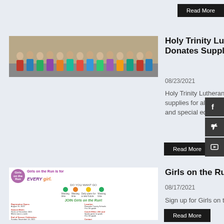Read More
[Figure (photo): Group photo of people standing inside a building, likely a church or community center]
Holy Trinity Lutheran Church Donates Supplies
08/23/2021
Holy Trinity Lutheran Church donates supplies for all classroom teachers, tutors, and special education instructors.
Read More
[Figure (flyer): Girls on the Run promotional flyer with event details and registration information]
Girls on the Run 2021
08/17/2021
Sign up for Girls on the Run ASAP!
Read More